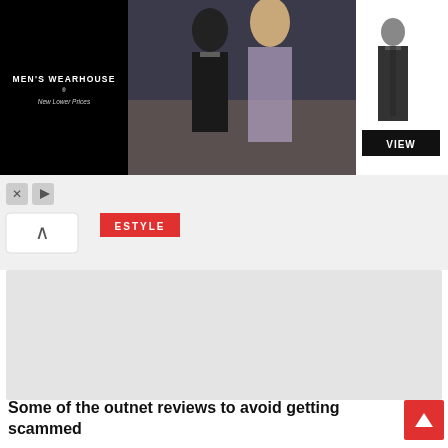[Figure (photo): Men's Wearhouse advertisement banner showing a couple in formal wear on left/center and a single man in a suit on the right with a VIEW button. Black background on left with brand name MEN'S WEARHOUSE New Lower Prices.]
[Figure (screenshot): Navigation tag partially visible showing ESTYLE in red, with a white scroll-up arrow button and ad control icons (X and play button)]
[Figure (screenshot): Large gray placeholder content area]
Some of the outnet reviews to avoid getting scammed